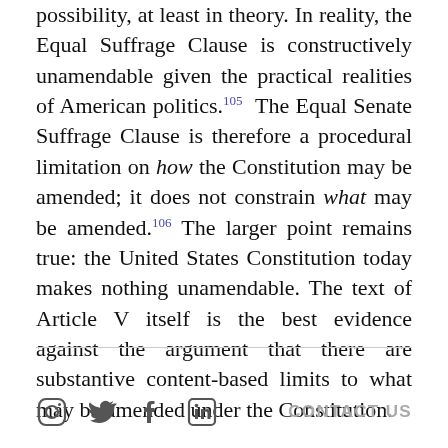possibility, at least in theory. In reality, the Equal Suffrage Clause is constructively unamendable given the practical realities of American politics.105 The Equal Senate Suffrage Clause is therefore a procedural limitation on how the Constitution may be amended; it does not constrain what may be amended.106 The larger point remains true: the United States Constitution today makes nothing unamendable. The text of Article V itself is the best evidence against the argument that there are substantive content-based limits to what may be amended under the Constitution.
CONTACT US